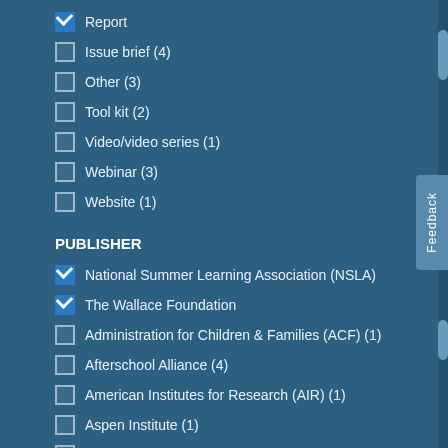Report
Issue brief (4)
Other (3)
Tool kit (2)
Video/video series (1)
Webinar (3)
Website (1)
PUBLISHER
National Summer Learning Association (NSLA)
The Wallace Foundation
Administration for Children & Families (ACF) (1)
Afterschool Alliance (4)
American Institutes for Research (AIR) (1)
Aspen Institute (1)
Child Trends (3)
Education Development Center (EDC) (1)
Harvard Family Research Project (1)
National Women's Law Center (1)